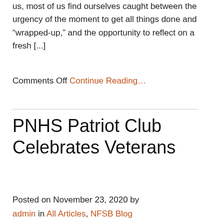us, most of us find ourselves caught between the urgency of the moment to get all things done and “wrapped-up,” and the opportunity to reflect on a fresh [...]
Comments Off Continue Reading…
PNHS Patriot Club Celebrates Veterans
Posted on November 23, 2020 by
admin in All Articles, NFSB Blog